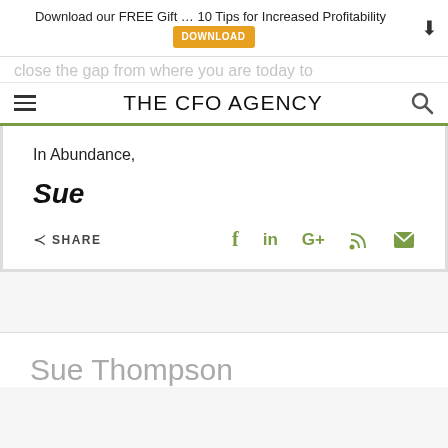Download our FREE Gift … 10 Tips for Increased Profitability DOWNLOAD
THE CFO AGENCY
close the gap from where you are today to [th]ere!
In Abundance,
Sue
SHARE
Sue Thompson